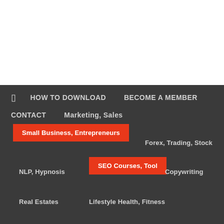HOW TO DOWNLOAD | BECOME A MEMBER | CONTACT | Marketing, Sales
Small Business, Entrepreneurs
Forex, Trading, Stock
NLP, Hypnosis
SEO Courses, Tool
Copywriting
Real Estates
Lifestyle Health, Fitness
Videos, Photoshops
Terms Of Use
Dmca Policy